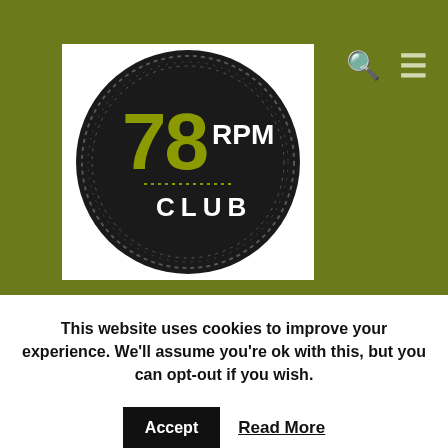[Figure (logo): 78 RPM Club circular logo on olive/khaki green header background with search and menu icons]
This website uses cookies to improve your experience. We'll assume you're ok with this, but you can opt-out if you wish.
Accept  Read More
|  | Artist | Track A | Time | Track B | Time |
| --- | --- | --- | --- | --- | --- |
| BEP 45-111/112* | Dick Kaye & The Kaydettes | Careless Hands | 03:00 | Pretty Polly Polka | 02:5... |
| BEP 45-113/114* | Mary's Concertina Dutchmen | Sharps Shooters March | 02:55 | Echoes in the Hills Waltz | 02:... |